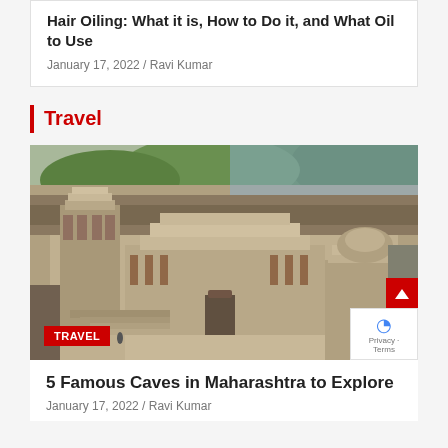Hair Oiling: What it is, How to Do it, and What Oil to Use
January 17, 2022 / Ravi Kumar
Travel
[Figure (photo): Aerial view of the Ellora Caves rock-cut temple complex in Maharashtra, India, showing intricate stone carvings and architecture against a green hillside]
5 Famous Caves in Maharashtra to Explore
January 17, 2022 / Ravi Kumar